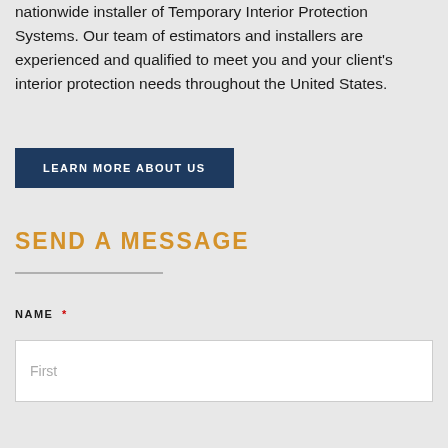nationwide installer of Temporary Interior Protection Systems. Our team of estimators and installers are experienced and qualified to meet you and your client's interior protection needs throughout the United States.
LEARN MORE ABOUT US
SEND A MESSAGE
NAME *
First